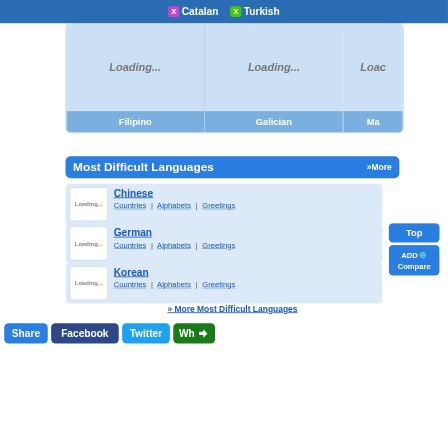X Catalan  X Turkish
[Figure (screenshot): Loading cards for Filipino, Galician, and a third language (partially visible), each showing 'Loading...' placeholder images with blue labels underneath]
Most Difficult Languages  »More
Chinese — Countries | Alphabets | Greetings
German — Countries | Alphabets | Greetings
Korean — Countries | Alphabets | Greetings
» More Most Difficult Languages
Share  Facebook  Twitter  Wh<